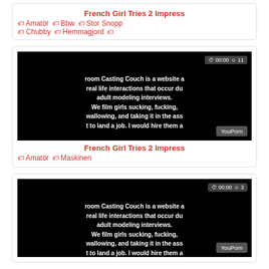French Girl Tries 2 Impress
🏷 Amatör 🏷 Bbw 🏷 Stor Snopp 🏷 Chubby 🏷 Hemmagjord 🏷
[Figure (screenshot): Black video thumbnail with time badge '00:00' and view count '11', showing text about a casting couch website, with YouPorn watermark]
French Girl Tries 2 Impress
🏷 Amatör 🏷 Maskinen
[Figure (screenshot): Black video thumbnail with time badge '00:00' and view count '3', showing text about a casting couch website, with YouPorn watermark]